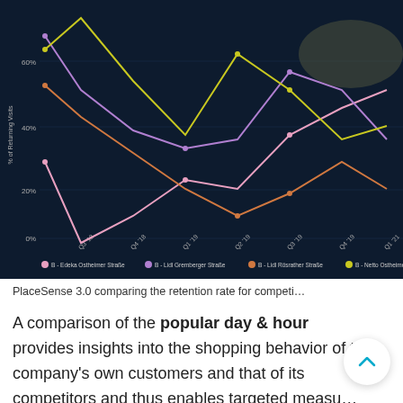[Figure (continuous-plot): PlaceSense 3.0 line chart on dark navy background showing % of Returning Visits over time (Q3 '18 to Q1 '21) for multiple competitors: B - Edeka Ostheimer Straße (pink), B - Lidl Gremberger Straße (purple), B - Lidl Rösrather Straße (orange/salmon), B - Netto Ostheimer (yellow). Multiple curved lines with data point markers cross and interleave across the time axis.]
PlaceSense 3.0 comparing the retention rate for competi...
A comparison of the popular day & hour provides insights into the shopping behavior of the company's own customers and that of its competitors and thus enables targeted measures to better meet the needs of customers.